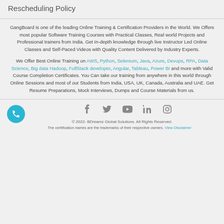Rescheduling Policy
GangBoard is one of the leading Online Training & Certification Providers in the World. We Offers most popular Software Training Courses with Practical Classes, Real world Projects and Professional trainers from India. Get In-depth knowledge through live Instructor Led Online Classes and Self-Paced Videos with Quality Content Delivered by Industry Experts.
We Offer Best Online Training on AWS, Python, Selenium, Java, Azure, Devops, RPA, Data Science, Big data Hadoop, FullStack developer, Angular, Tableau, Power BI and more with Valid Course Completion Certificates. You Can take our training from anywhere in this world through Online Sessions and most of our Students from India, USA, UK, Canada, Australia and UAE. Get Resume Preparations, Mock Interviews, Dumps and Course Materials from us.
© 2022- BDreamz Global Solutions. All Rights Reserved.
The certification names are the trademarks of their respective owners. View Disclaimer